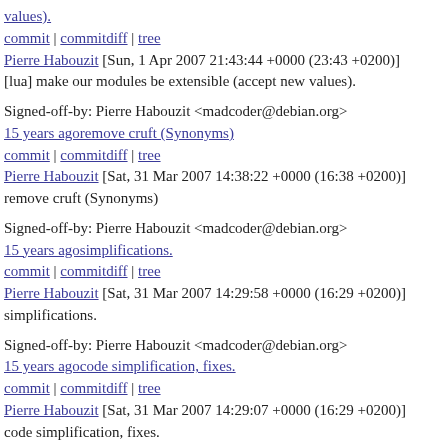values).
commit | commitdiff | tree
Pierre Habouzit [Sun, 1 Apr 2007 21:43:44 +0000 (23:43 +0200)]
[lua] make our modules be extensible (accept new values).
Signed-off-by: Pierre Habouzit <madcoder@debian.org>
15 years agoremove cruft (Synonyms)
commit | commitdiff | tree
Pierre Habouzit [Sat, 31 Mar 2007 14:38:22 +0000 (16:38 +0200)]
remove cruft (Synonyms)
Signed-off-by: Pierre Habouzit <madcoder@debian.org>
15 years agosimplifications.
commit | commitdiff | tree
Pierre Habouzit [Sat, 31 Mar 2007 14:29:58 +0000 (16:29 +0200)]
simplifications.
Signed-off-by: Pierre Habouzit <madcoder@debian.org>
15 years agocode simplification, fixes.
commit | commitdiff | tree
Pierre Habouzit [Sat, 31 Mar 2007 14:29:07 +0000 (16:29 +0200)]
code simplification, fixes.
Signed-off-by: Pierre Habouzit <madcoder@debian.org>
15 years agolast lists into Mime